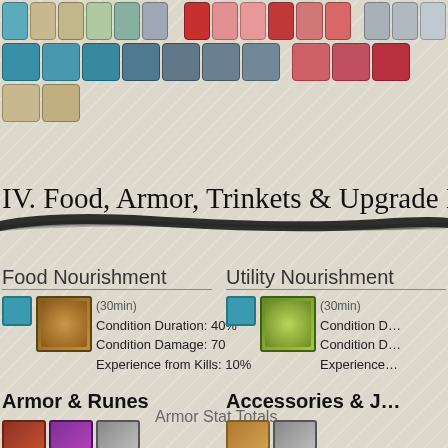[Figure (illustration): Grid of game item/skill icons in rows: teal, pink/red colored shield-badge icons and gray square icons]
IV. Food, Armor, Trinkets & Upgrade Items
[Figure (illustration): Decorative black brush stroke divider line]
Food Nourishment
(30min)
Condition Duration: 40%
Condition Damage: 70
Experience from Kills: 10%
Utility Nourishment
(30min)
Condition D...
Condition D...
Experience...
Armor & Runes
Armor Stat Totals
Accessories & J...
[Figure (illustration): Bottom item icons for armor/accessories sections]